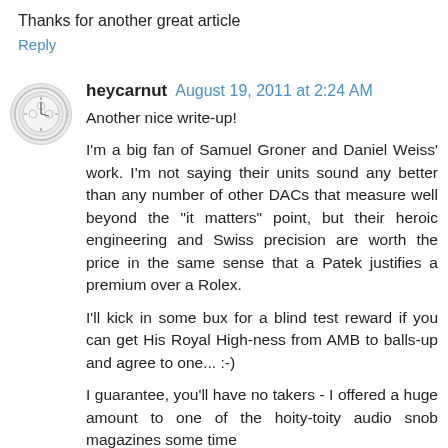Thanks for another great article
Reply
heycarnut  August 19, 2011 at 2:24 AM
Another nice write-up!

I'm a big fan of Samuel Groner and Daniel Weiss' work. I'm not saying their units sound any better than any number of other DACs that measure well beyond the "it matters" point, but their heroic engineering and Swiss precision are worth the price in the same sense that a Patek justifies a premium over a Rolex.

I'll kick in some bux for a blind test reward if you can get His Royal High-ness from AMB to balls-up and agree to one... :-)

I guarantee, you'll have no takers - I offered a huge amount to one of the hoity-toity audio snob magazines some time